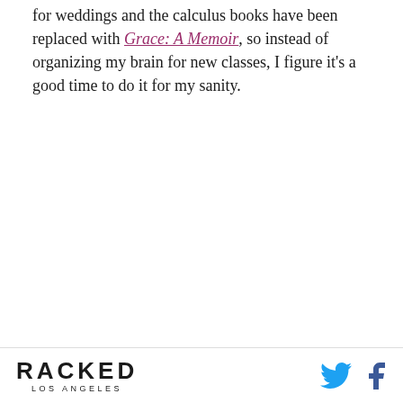for weddings and the calculus books have been replaced with Grace: A Memoir, so instead of organizing my brain for new classes, I figure it's a good time to do it for my sanity.
RACKED LOS ANGELES [logo with Twitter and Facebook icons]